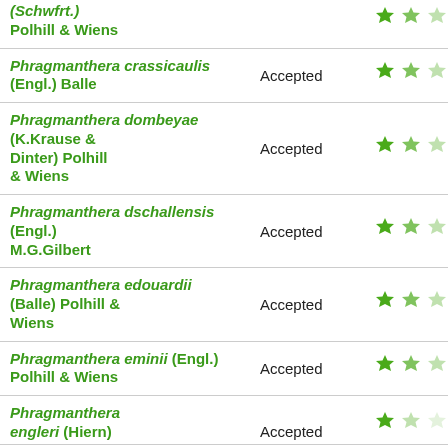| Species | Status | Rating |
| --- | --- | --- |
| (Schwfrt.) Polhill & Wiens |  | ★★☆ |
| Phragmanthera crassicaulis (Engl.) Balle | Accepted | ★★☆ |
| Phragmanthera dombeyae (K.Krause & Dinter) Polhill & Wiens | Accepted | ★★☆ |
| Phragmanthera dschallensis (Engl.) M.G.Gilbert | Accepted | ★★☆ |
| Phragmanthera edouardii (Balle) Polhill & Wiens | Accepted | ★★☆ |
| Phragmanthera eminii (Engl.) Polhill & Wiens | Accepted | ★★☆ |
| Phragmanthera engleri (Hiern) | Accepted | ★☆☆ |